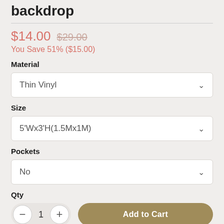backdrop
$14.00  $29.00
You Save 51% ($15.00)
Material
Thin Vinyl
Size
5'Wx3'H(1.5Mx1M)
Pockets
No
Qty
1   Add to Cart